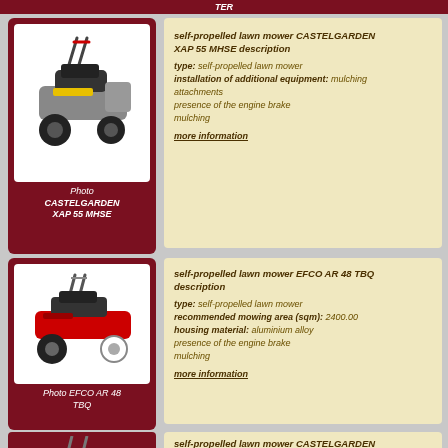[Figure (photo): Self-propelled lawn mower CASTELGARDEN XAP 55 MHSE - red and grey mower photo with caption]
self-propelled lawn mower CASTELGARDEN XAP 55 MHSE description
type: self-propelled lawn mower
installation of additional equipment: mulching attachments
presence of the engine brake
mulching
more information
[Figure (photo): Self-propelled lawn mower EFCO AR 48 TBQ - red mower photo with caption]
self-propelled lawn mower EFCO AR 48 TBQ description
type: self-propelled lawn mower
recommended mowing area (sqm): 2400.00
housing material: aluminium alloy
presence of the engine brake
mulching
more information
self-propelled lawn mower CASTELGARDEN